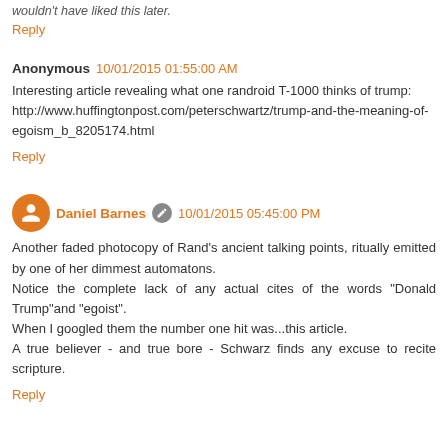wouldn't have liked this later.
Reply
Anonymous  10/01/2015 01:55:00 AM
Interesting article revealing what one randroid T-1000 thinks of trump: http://www.huffingtonpost.com/peterschwartz/trump-and-the-meaning-of-egoism_b_8205174.html
Reply
Daniel Barnes  10/01/2015 05:45:00 PM
Another faded photocopy of Rand's ancient talking points, ritually emitted by one of her dimmest automatons.
Notice the complete lack of any actual cites of the words "Donald Trump"and "egoist".
When I googled them the number one hit was...this article.
A true believer - and true bore - Schwarz finds any excuse to recite scripture.
Reply